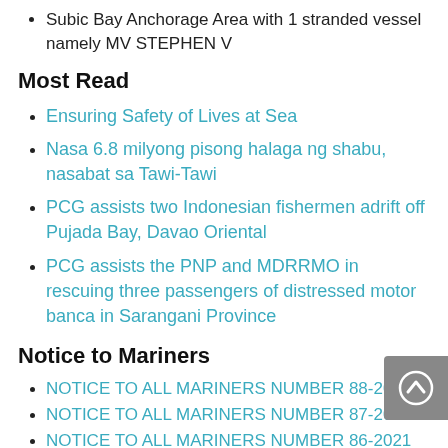Subic Bay Anchorage Area with 1 stranded vessel namely MV STEPHEN V
Most Read
Ensuring Safety of Lives at Sea
Nasa 6.8 milyong pisong halaga ng shabu, nasabat sa Tawi-Tawi
PCG assists two Indonesian fishermen adrift off Pujada Bay, Davao Oriental
PCG assists the PNP and MDRRMO in rescuing three passengers of distressed motor banca in Sarangani Province
Notice to Mariners
NOTICE TO ALL MARINERS NUMBER 88-2021
NOTICE TO ALL MARINERS NUMBER 87-2021
NOTICE TO ALL MARINERS NUMBER 86-2021
NOTICE TO ALL MARINERS NUMBER 85-2021